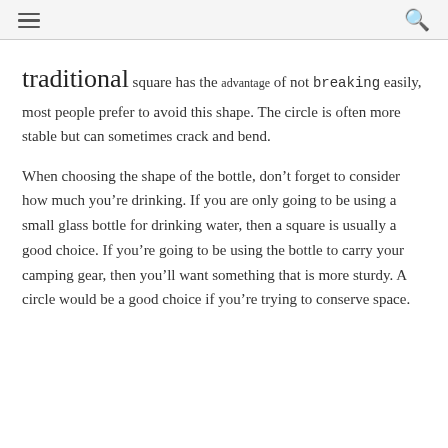≡  🔍
traditional square has the advantage of not breaking easily, most people prefer to avoid this shape. The circle is often more stable but can sometimes crack and bend.
When choosing the shape of the bottle, don't forget to consider how much you're drinking. If you are only going to be using a small glass bottle for drinking water, then a square is usually a good choice. If you're going to be using the bottle to carry your camping gear, then you'll want something that is more sturdy. A circle would be a good choice if you're trying to conserve space.